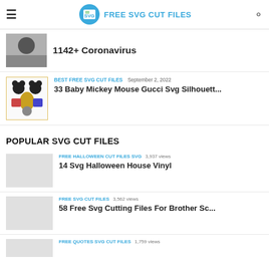FREE SVG CUT FILES
1142+ Coronavirus
BEST FREE SVG CUT FILES  September 2, 2022
33 Baby Mickey Mouse Gucci Svg Silhouett...
POPULAR SVG CUT FILES
FREE HALLOWEEN CUT FILES SVG  3,937 views
14 Svg Halloween House Vinyl
FREE SVG CUT FILES  3,562 views
58 Free Svg Cutting Files For Brother Sc...
FREE QUOTES SVG CUT FILES  1,759 views